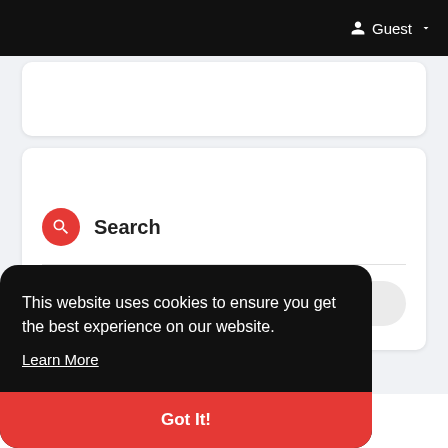Guest
[Figure (screenshot): Search card with red search icon and keyword input field]
This website uses cookies to ensure you get the best experience on our website.
Learn More
Got It!
Medical Laser Market In-Depth